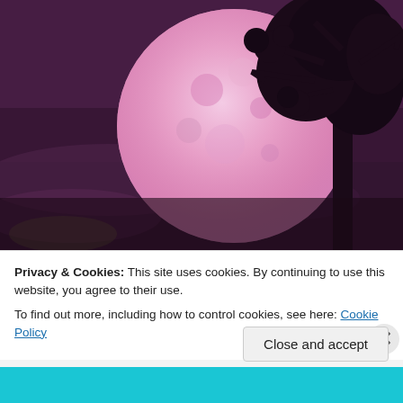[Figure (photo): A large pink/magenta full moon rising behind a dark silhouetted tree against a purple night sky]
April's Full Pink
Privacy & Cookies: This site uses cookies. By continuing to use this website, you agree to their use.
To find out more, including how to control cookies, see here: Cookie Policy